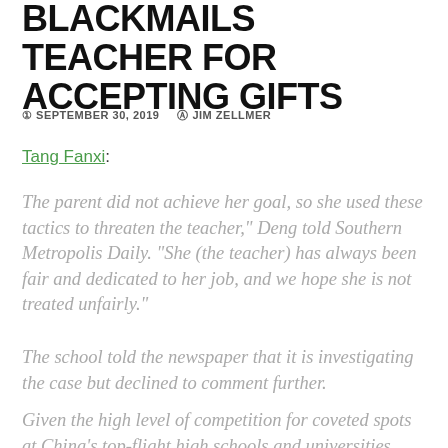BLACKMAILS TEACHER FOR ACCEPTING GIFTS
SEPTEMBER 30, 2019   JIM ZELLMER
Tang Fanxi:
The parent did not achieve her goal, so she used these tactics to threaten the teacher," Deng told Southern Metropolis Daily. "She (the teacher) has always been fair and dedicated to her job, and we hope she is not treated unfairly."
The school told the newspaper that it is investigating the case but declined to comment further.
Given the high level of competition for coveted spots at China's top-flight high schools and universities, parents have been known to lavish teachers with gifts in hopes of